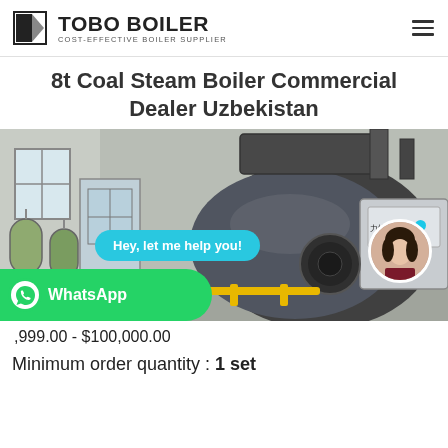TOBO BOILER — COST-EFFECTIVE BOILER SUPPLIER
8t Coal Steam Boiler Commercial Dealer Uzbekistan
[Figure (photo): Industrial coal steam boiler in a factory/boiler room setting. A large cylindrical dark-colored boiler occupies the right side, water treatment tanks on the left. Chat bubble overlay reads 'Hey, let me help you!' with a customer service avatar. WhatsApp button overlay at bottom left.]
$9,999.00 - $100,000.00
Minimum order quantity : 1 set